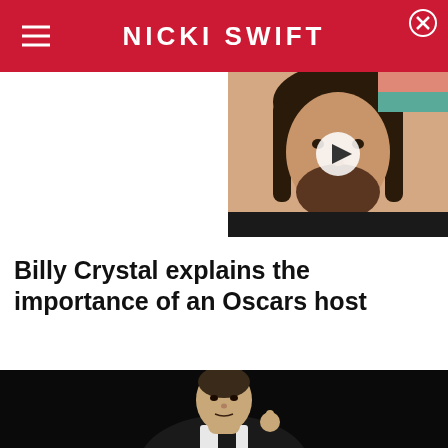NICKI SWIFT
[Figure (photo): Video thumbnail showing a bearded man with long dark hair, with a play button overlay]
Billy Crystal explains the importance of an Oscars host
[Figure (photo): Photo of Billy Crystal in a suit gesturing with his hand, dark background]